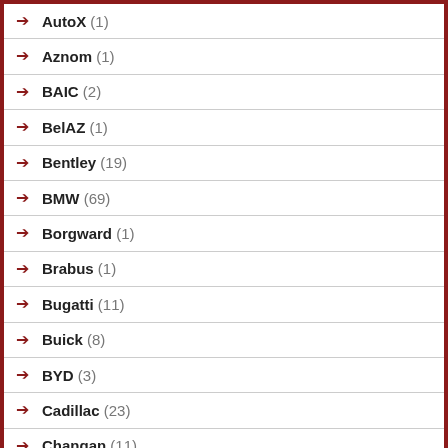AutoX (1)
Aznom (1)
BAIC (2)
BelAZ (1)
Bentley (19)
BMW (69)
Borgward (1)
Brabus (1)
Bugatti (11)
Buick (8)
BYD (3)
Cadillac (23)
Changan (11)
Chaos (1)